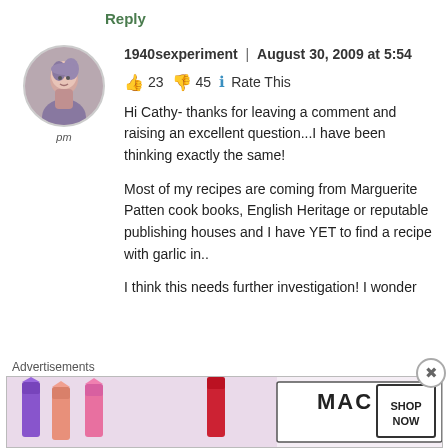Reply
1940sexperiment | August 30, 2009 at 5:54 pm
👍 23 👎 45 ℹ Rate This
Hi Cathy- thanks for leaving a comment and raising an excellent question...I have been thinking exactly the same!

Most of my recipes are coming from Marguerite Patten cook books, English Heritage or reputable publishing houses and I have YET to find a recipe with garlic in..

I think this needs further investigation! I wonder
[Figure (illustration): Circular avatar photo of a woman with styled hair, wearing a patterned outfit. Below reads 'pm' in italic.]
[Figure (photo): MAC cosmetics advertisement banner showing several lipsticks in purple, coral, pink, and red colors with MAC logo and SHOP NOW button.]
Advertisements